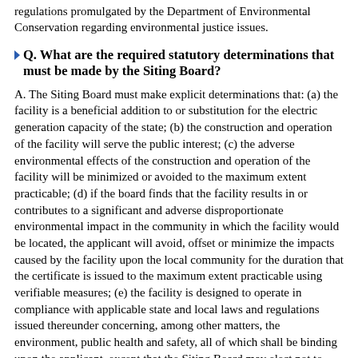regulations promulgated by the Department of Environmental Conservation regarding environmental justice issues.
Q. What are the required statutory determinations that must be made by the Siting Board?
A. The Siting Board must make explicit determinations that: (a) the facility is a beneficial addition to or substitution for the electric generation capacity of the state; (b) the construction and operation of the facility will serve the public interest; (c) the adverse environmental effects of the construction and operation of the facility will be minimized or avoided to the maximum extent practicable; (d) if the board finds that the facility results in or contributes to a significant and adverse disproportionate environmental impact in the community in which the facility would be located, the applicant will avoid, offset or minimize the impacts caused by the facility upon the local community for the duration that the certificate is issued to the maximum extent practicable using verifiable measures; (e) the facility is designed to operate in compliance with applicable state and local laws and regulations issued thereunder concerning, among other matters, the environment, public health and safety, all of which shall be binding upon the applicant, except that the Siting Board may elect not to apply, in whole or in part, any local ordinance, law, resolution or other action or any regulation issued thereunder or any local